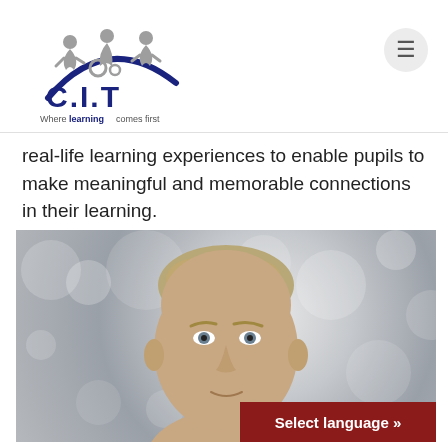[Figure (logo): C.I.T logo with figures above an arc and text 'Where learning comes first']
real-life learning experiences to enable pupils to make meaningful and memorable connections in their learning.
[Figure (photo): Portrait photo of a middle-aged man with short grey/blonde hair against a blurred bokeh background]
Select language »